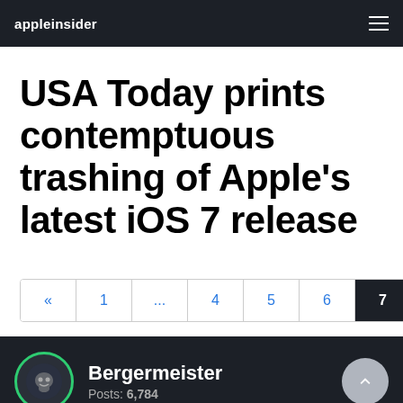appleinsider
USA Today prints contemptuous trashing of Apple's latest iOS 7 release
« 1 ... 4 5 6 7 8 9 10 »
Bergermeister
Posts: 6,784